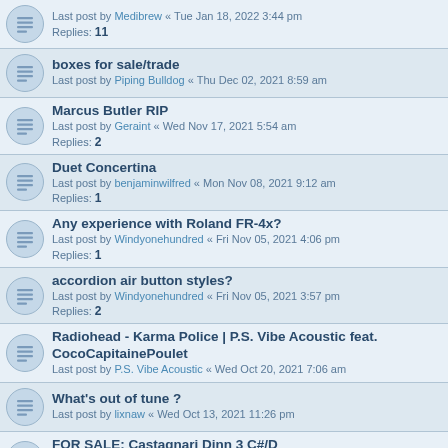Last post by Medibrew « Tue Jan 18, 2022 3:44 pm
Replies: 11
boxes for sale/trade
Last post by Piping Bulldog « Thu Dec 02, 2021 8:59 am
Marcus Butler RIP
Last post by Geraint « Wed Nov 17, 2021 5:54 am
Replies: 2
Duet Concertina
Last post by benjaminwilfred « Mon Nov 08, 2021 9:12 am
Replies: 1
Any experience with Roland FR-4x?
Last post by Windyonehundred « Fri Nov 05, 2021 4:06 pm
Replies: 1
accordion air button styles?
Last post by Windyonehundred « Fri Nov 05, 2021 3:57 pm
Replies: 2
Radiohead - Karma Police | P.S. Vibe Acoustic feat. CocoCapitainePoulet
Last post by P.S. Vibe Acoustic « Wed Oct 20, 2021 7:06 am
What's out of tune ?
Last post by lixnaw « Wed Oct 13, 2021 11:26 pm
FOR SALE: Castagnari Dinn 3 C#/D
Last post by Torc « Thu Sep 23, 2021 3:29 am
Replies: 1
Major update to my B/C Box Bass/Chord Tune Transcriptions Tunebook